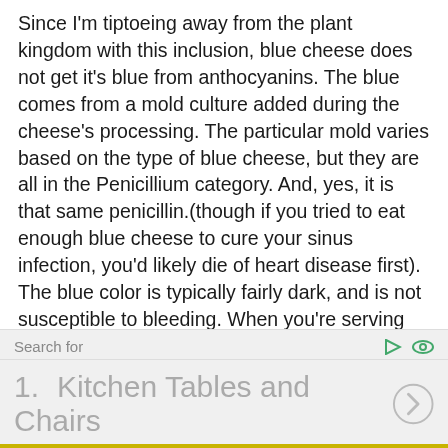Since I'm tiptoeing away from the plant kingdom with this inclusion, blue cheese does not get it's blue from anthocyanins. The blue comes from a mold culture added during the cheese's processing. The particular mold varies based on the type of blue cheese, but they are all in the Penicillium category. And, yes, it is that same penicillin.(though if you tried to eat enough blue cheese to cure your sinus infection, you'd likely die of heart disease first). The blue color is typically fairly dark, and is not susceptible to bleeding. When you're serving cold dishes with blue cheese, try using a string to cut your blue cheese into thin sheets– the mottled surface can be quite attractive and much more interesting than crumbles.
Search for
1.  Kitchen Tables and Chairs